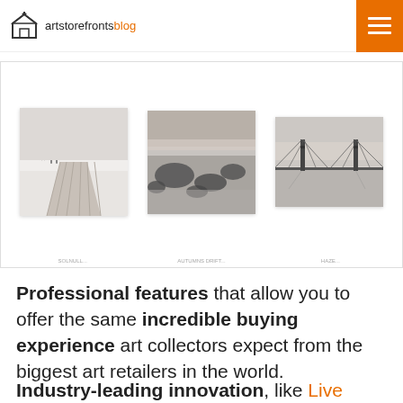artstorefronts blog
[Figure (screenshot): Three black and white landscape photographs displayed in a gallery: a wooden dock/pier, rocky seascape with long exposure, and a suspension bridge over water.]
Professional features that allow you to offer the same incredible buying experience art collectors expect from the biggest art retailers in the world.
Industry-leading innovation, like Live Preview with Augmented Reality, the first in...